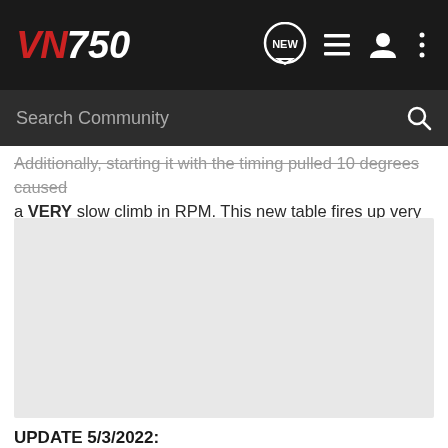VN750 — NEW (nav icons)
Additionally, starting it with the timing pulled 10 degrees caused a VERY slow climb in RPM. This new table fires up very quickly.
[Figure (photo): Gray placeholder image for an embedded photo or video in the forum post]
UPDATE 5/3/2022:
The stock timing file that I added also includes a shift light that starts blinking at 7,500 and goes steady at 8,500.